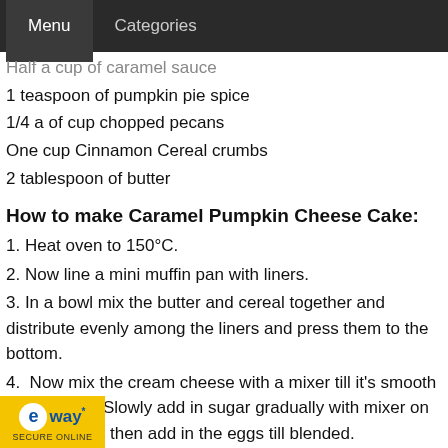Menu   Categories
Half a cup of caramel sauce
1 teaspoon of pumpkin pie spice
1/4 a of cup chopped pecans
One cup Cinnamon Cereal crumbs
2 tablespoon of butter
How to make Caramel Pumpkin Cheese Cake:
1. Heat oven to 150°C.
2. Now line a mini muffin pan with liners.
3. In a bowl mix the butter and cereal together and distribute evenly among the liners and press them to the bottom.
4.  Now mix the cream cheese with a mixer till it's smooth and creamy. Slowly add in sugar gradually with mixer on a slow speed then add in the eggs till blended.
one and a half spoons of the mixture on top of the